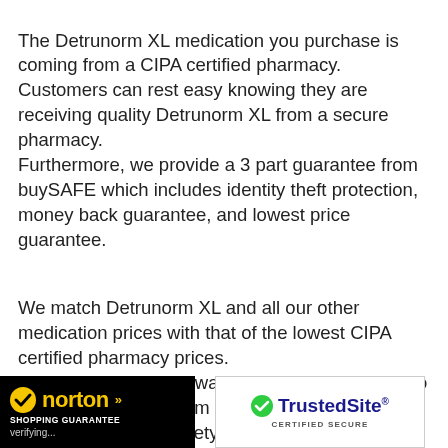The Detrunorm XL medication you purchase is coming from a CIPA certified pharmacy. Customers can rest easy knowing they are receiving quality Detrunorm XL from a secure pharmacy. Furthermore, we provide a 3 part guarantee from buySAFE which includes identity theft protection, money back guarantee, and lowest price guarantee.
We match Detrunorm XL and all our other medication prices with that of the lowest CIPA certified pharmacy prices. A prescription must always be provided in order to buy Detrunorm XL from DoctorSolve.com. This formality is for the safety of the customer. The customer must initially fax a copy of their prescription and which is then followed by the er mailing in the original prescription to
[Figure (logo): Norton Shopping Guarantee badge - black background with yellow norton text and checkmark, 'SHOPPING GUARANTEE' subtitle, 'verifying...' text]
[Figure (logo): TrustedSite Certified Secure badge - white background with blue TrustedSite text and green checkmark, 'CERTIFIED SECURE' subtitle]